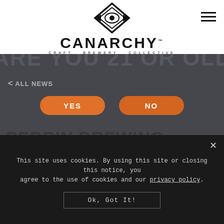[Figure (logo): CANarchy Craft Brewery Collective logo with diamond and eye emblem above the brand name]
ARE YOU 21 OR OLDER?
< ALL NEWS
YES
NO
PERRIN BREWING COMPANY LAUNCHES BRAND NEW HARD
REMEMBER ME
This site uses cookies. By using this site or closing this notice, you agree to the use of cookies and our privacy policy.
Ok, Got It!